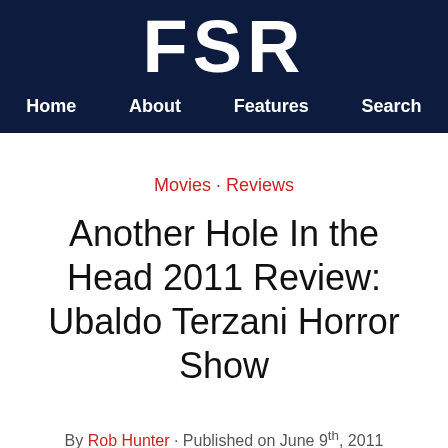FSR
Home · About · Features · Search
Movies · Reviews
Another Hole In the Head 2011 Review: Ubaldo Terzani Horror Show
By Rob Hunter · Published on June 9th, 2011